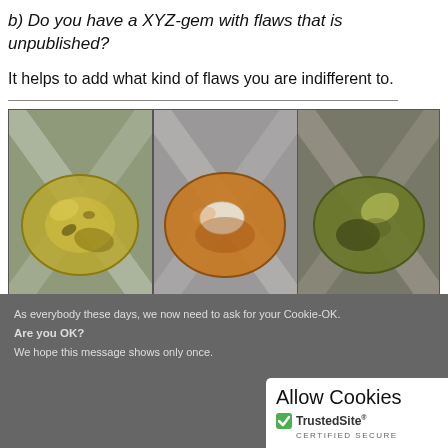b) Do you have a XYZ-gem with flaws that is unpublished?
It helps to add what kind of flaws you are indifferent to.
[Figure (photo): Three photos of yellowish-green gemstones (likely chrysoberyls or sapphires) held in gem tweezers, showing faceted oval gems from top view. Left gem is yellow-green with inclusions, middle gem shows a large white inclusion/flaw, right gem is darker olive-green.]
As everybody these days, we now need to ask for your Cookie-OK.
Are you OK?
We hope this message shows only once.
Allow Cookies
TrustedSite®
CERTIFIED SECURE